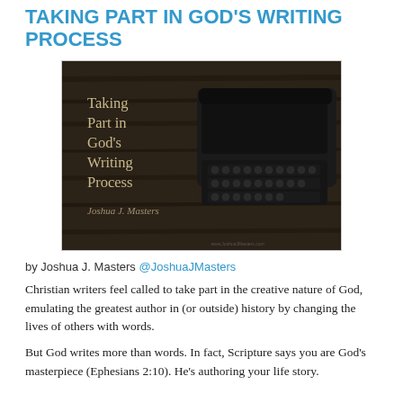TAKING PART IN GOD'S WRITING PROCESS
[Figure (photo): Dark wood background with a vintage typewriter on the right side. Text overlay reads 'Taking Part in God's Writing Process' and 'Joshua J. Masters' in a handwritten font.]
by Joshua J. Masters @JoshuaJMasters
Christian writers feel called to take part in the creative nature of God, emulating the greatest author in (or outside) history by changing the lives of others with words.
But God writes more than words. In fact, Scripture says you are God's masterpiece (Ephesians 2:10). He's authoring your life story.